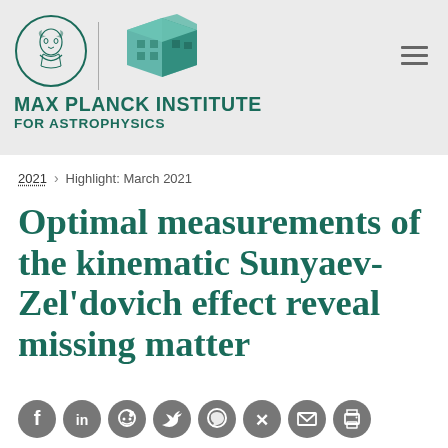[Figure (logo): Max Planck Society circular logo with bust portrait and Max Planck Institute for Astrophysics 3D building logo]
MAX PLANCK INSTITUTE FOR ASTROPHYSICS
2021 > Highlight: March 2021
Optimal measurements of the kinematic Sunyaev-Zel'dovich effect reveal missing matter
[Figure (infographic): Row of social media sharing icons: Facebook, LinkedIn, Reddit, Twitter, WhatsApp, Xing, Email, Print]